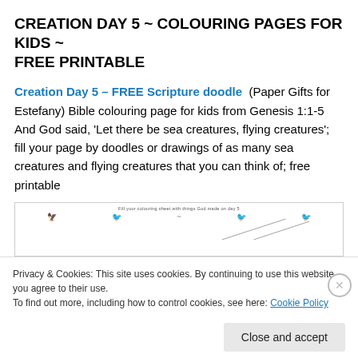CREATION DAY 5 ~ COLOURING PAGES FOR KIDS ~ FREE PRINTABLE
Creation Day 5 – FREE Scripture doodle  (Paper Gifts for Estefany) Bible colouring page for kids from Genesis 1:1-5 And God said, 'Let there be sea creatures, flying creatures'; fill your page by doodles or drawings of as many sea creatures and flying creatures that you can think of; free printable
[Figure (illustration): Partial preview of a colouring sheet with birds/flying creatures and diagonal lines, partially obscured by cookie consent overlay]
Privacy & Cookies: This site uses cookies. By continuing to use this website, you agree to their use.
To find out more, including how to control cookies, see here: Cookie Policy
Close and accept